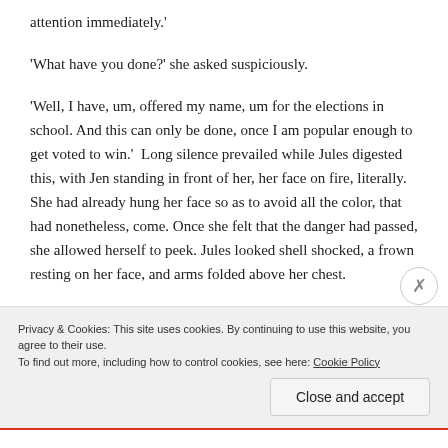attention immediately.'
'What have you done?' she asked suspiciously.
'Well, I have, um, offered my name, um for the elections in school. And this can only be done, once I am popular enough to get voted to win.'  Long silence prevailed while Jules digested this, with Jen standing in front of her, her face on fire, literally. She had already hung her face so as to avoid all the color, that had nonetheless, come. Once she felt that the danger had passed, she allowed herself to peek. Jules looked shell shocked, a frown resting on her face, and arms folded above her chest.
Privacy & Cookies: This site uses cookies. By continuing to use this website, you agree to their use.
To find out more, including how to control cookies, see here: Cookie Policy
Close and accept